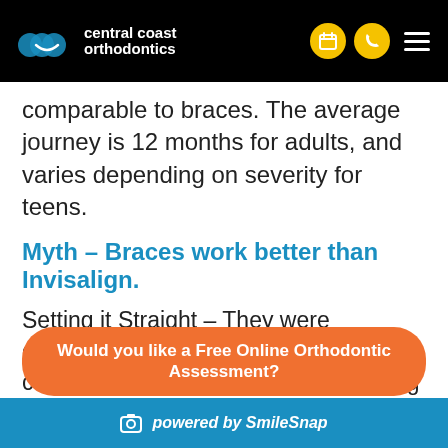central coast orthodontics
comparable to braces. The average journey is 12 months for adults, and varies depending on severity for teens.
Myth – Braces work better than Invisalign.
Setting it Straight – They were developed with leading Orthodontics to correct the most common straightening issues – from severe cases to minor, cosmetic adjustments.
Check out this helpful infographic below to see if they are right for your teen:
Would you like a Free Online Orthodontic Assessment?
powered by SmileSnap